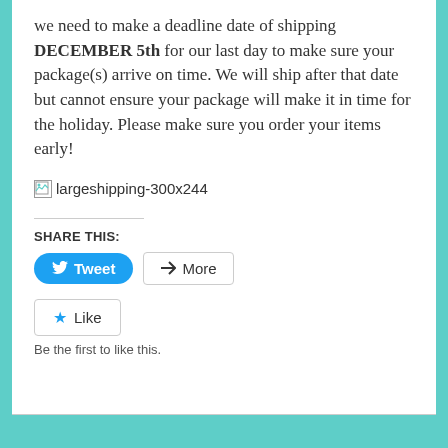we need to make a deadline date of shipping DECEMBER 5th for our last day to make sure your package(s) arrive on time. We will ship after that date but cannot ensure your package will make it in time for the holiday. Please make sure you order your items early!
[Figure (other): Broken image placeholder showing 'largeshipping-300x244']
SHARE THIS:
Tweet
More
Like
Be the first to like this.